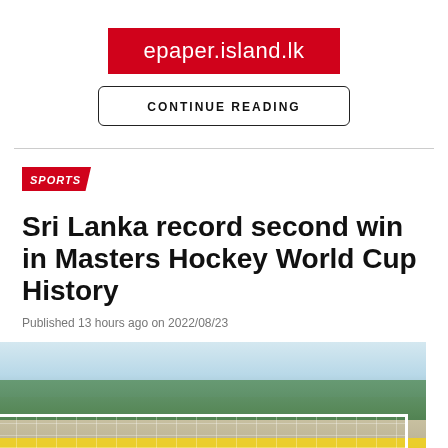epaper.island.lk
CONTINUE READING
SPORTS
Sri Lanka record second win in Masters Hockey World Cup History
Published 13 hours ago on 2022/08/23
[Figure (photo): Team photo of hockey players standing in front of a goal post on a field, with trees and sky in the background. Players appear to be wearing white jerseys.]